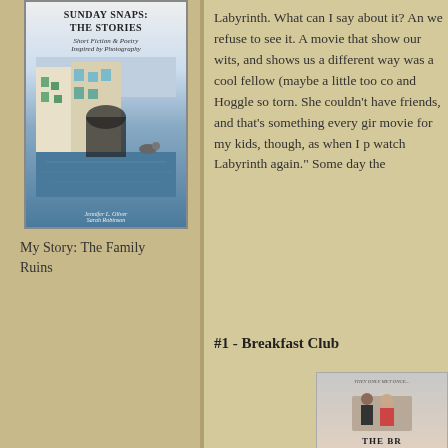[Figure (photo): Book cover for 'Sunday Snaps: The Stories - Short Fiction & Poetry Inspired by Photography', showing a Venice canal scene with buildings and water]
My Story: The Family Ruins
Labyrinth. What can I say about it? An we refuse to see it. A movie that show our wits, and shows us a different way was a cool fellow (maybe a little too co and Hoggle so torn. She couldn't have friends, and that's something every gir movie for my kids, though, as when I p watch Labyrinth again." Some day the
#1 - Breakfast Club
[Figure (photo): Movie poster for The Breakfast Club showing characters]